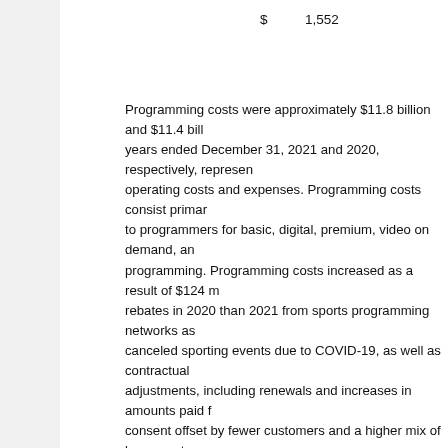$ 1,552
Programming costs were approximately $11.8 billion and $11.4 billion for the years ended December 31, 2021 and 2020, respectively, representing operating costs and expenses. Programming costs consist primarily of fees paid to programmers for basic, digital, premium, video on demand, and other programming. Programming costs increased as a result of $124 million more rebates in 2020 than 2021 from sports programming networks as a result of canceled sporting events due to COVID-19, as well as contractual rate adjustments, including renewals and increases in amounts paid for retransmission consent offset by fewer customers and a higher mix of lower cost packages within our video customer base. We expect programming rates per customer to continue to increase due to a variety of factors, including annual increases imposed by programmers with additional selling power as a result of broadcast station groups consolidation, increased demands by over-the-air stations for payment for retransmission consent or linking carriage of services to retransmission consent, and additional programming